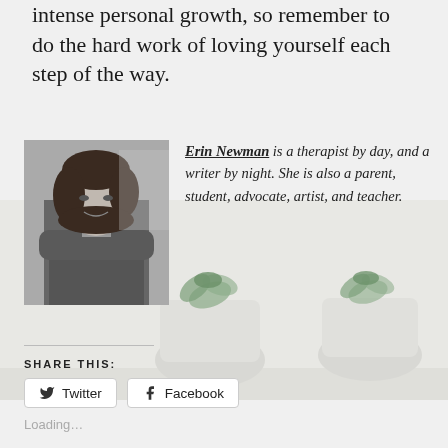intense personal growth, so remember to do the hard work of loving yourself each step of the way.
[Figure (photo): Black and white portrait photo of Erin Newman, a woman with dark hair wearing a denim jacket, smiling.]
Erin Newman is a therapist by day, and a writer by night. She is also a parent, student, advocate, artist, and teacher.
SHARE THIS:
Twitter
Facebook
Loading...